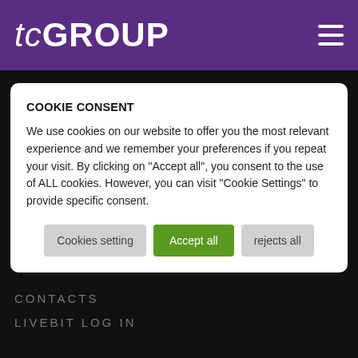tcGROUP
COOKIE CONSENT
We use cookies on our website to offer you the most relevant experience and we remember your preferences if you repeat your visit. By clicking on "Accept all", you consent to the use of ALL cookies. However, you can visit "Cookie Settings" to provide specific consent.
Cookies setting | Accept all | rejects all
CONTACTS
LIVEBIT LOG IN